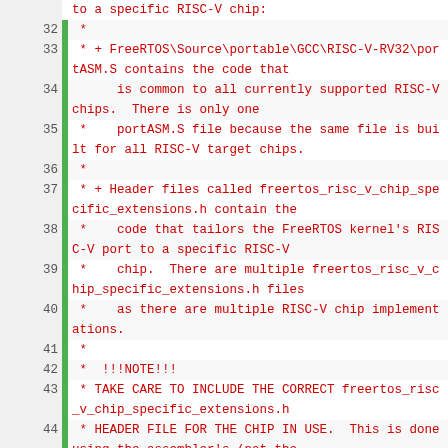Source code listing lines 32-49, FreeRTOS RISC-V port comments describing portASM.S and freertos_risc_v_chip_specific_extensions.h header files and usage instructions.